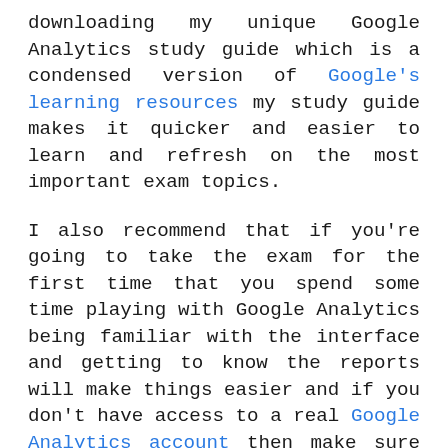downloading my unique Google Analytics study guide which is a condensed version of Google's learning resources my study guide makes it quicker and easier to learn and refresh on the most important exam topics.

I also recommend that if you're going to take the exam for the first time that you spend some time playing with Google Analytics being familiar with the interface and getting to know the reports will make things easier and if you don't have access to a real Google Analytics account then make sure you have access to the Google Analytics demo account so what are the exam questions like well all of the questions are multiple-choice, so you select the best possible answer from the available options they do cover a broad